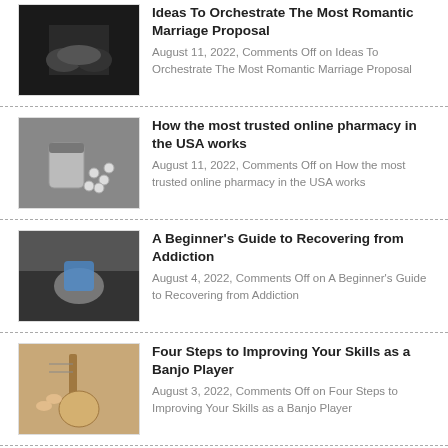Ideas To Orchestrate The Most Romantic Marriage Proposal
August 11, 2022, Comments Off on Ideas To Orchestrate The Most Romantic Marriage Proposal
How the most trusted online pharmacy in the USA works
August 11, 2022, Comments Off on How the most trusted online pharmacy in the USA works
A Beginner's Guide to Recovering from Addiction
August 4, 2022, Comments Off on A Beginner's Guide to Recovering from Addiction
Four Steps to Improving Your Skills as a Banjo Player
August 3, 2022, Comments Off on Four Steps to Improving Your Skills as a Banjo Player
The Rise Of South Korea's Medical Tourism
August 2, 2022, Comments Off on The Rise Of South Korea's Medical Tourism
5 Super Foods Health Professionals Like...